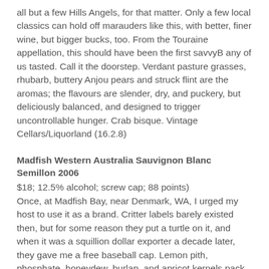all but a few Hills Angels, for that matter. Only a few local classics can hold off marauders like this, with better, finer wine, but bigger bucks, too. From the Touraine appellation, this should have been the first savvyB any of us tasted. Call it the doorstep. Verdant pasture grasses, rhubarb, buttery Anjou pears and struck flint are the aromas; the flavours are slender, dry, and puckery, but deliciously balanced, and designed to trigger uncontrollable hunger. Crab bisque. Vintage Cellars/Liquorland (16.2.8)
Madfish Western Australia Sauvignon Blanc Semillon 2006
$18; 12.5% alcohol; screw cap; 88 points)
Once, at Madfish Bay, near Denmark, WA, I urged my host to use it as a brand. Critter labels barely existed then, but for some reason they put a turtle on it, and when it was a squillion dollar exporter a decade later, they gave me a free baseball cap. Lemon pith, phosphate, honeydew, burlap, and apricot kernels pack the tight bouquet; the palate's cleansing, but as grainy as an old Bunuel movie. It makes me dream of crispy skin chicken, cinnamon salt, lemon, and money. (13.1.7)